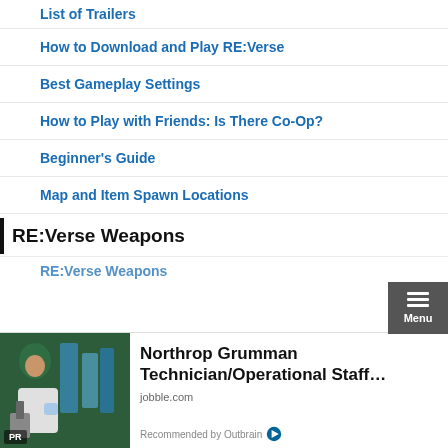List of Trailers
How to Download and Play RE:Verse
Best Gameplay Settings
How to Play with Friends: Is There Co-Op?
Beginner's Guide
Map and Item Spawn Locations
RE:Verse Weapons
RE:Verse Weapons
[Figure (photo): Woman in hijab and lab coat working with laboratory equipment, with blue test tubes visible]
Northrop Grumman Technician/Operational Staff…
jobble.com
Recommended by Outbrain